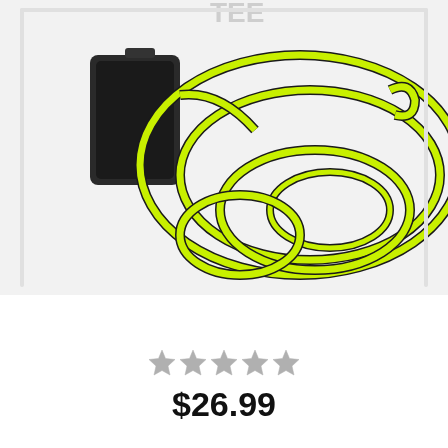[Figure (photo): Product photo showing neon yellow-green EL wire coiled up next to a small black battery pack/controller, on a white background. Partial text visible at top.]
★★★★★ (star rating, approximately 1 out of 5 stars filled)
$26.99